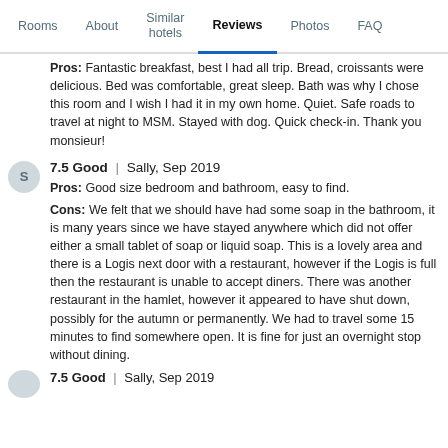Rooms | About | Similar hotels | Reviews | Photos | FAQ
Pros: Fantastic breakfast, best I had all trip. Bread, croissants were delicious. Bed was comfortable, great sleep. Bath was why I chose this room and I wish I had it in my own home. Quiet. Safe roads to travel at night to MSM. Stayed with dog. Quick check-in. Thank you monsieur!
7.5 Good | Sally, Sep 2019
Pros: Good size bedroom and bathroom, easy to find.
Cons: We felt that we should have had some soap in the bathroom, it is many years since we have stayed anywhere which did not offer either a small tablet of soap or liquid soap. This is a lovely area and there is a Logis next door with a restaurant, however if the Logis is full then the restaurant is unable to accept diners. There was another restaurant in the hamlet, however it appeared to have shut down, possibly for the autumn or permanently. We had to travel some 15 minutes to find somewhere open. It is fine for just an overnight stop without dining.
7.5 Good | Sally, Sep 2019